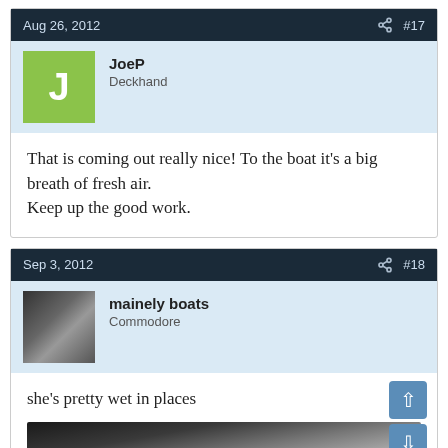Aug 26, 2012  #17
JoeP
Deckhand
That is coming out really nice! To the boat it's a big breath of fresh air.
Keep up the good work.
Sep 3, 2012  #18
mainely boats
Commodore
she's pretty wet in places
[Figure (photo): Partial boat interior photo visible at bottom of page]